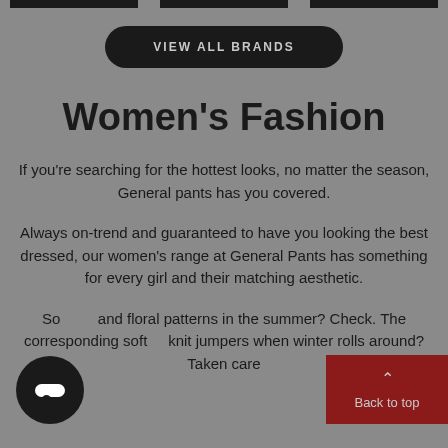[Figure (other): Three black horizontal bar elements at the top of the page]
VIEW ALL BRANDS
Women's Fashion
If you're searching for the hottest looks, no matter the season, General pants has you covered.
Always on-trend and guaranteed to have you looking the best dressed, our women's range at General Pants has something for every girl and their matching aesthetic.
Soft and floral patterns in the summer? Check. The corresponding soft knit jumpers when winter rolls around? Taken care
[Figure (other): Black circular chat button with white pill shape inside]
Back to top